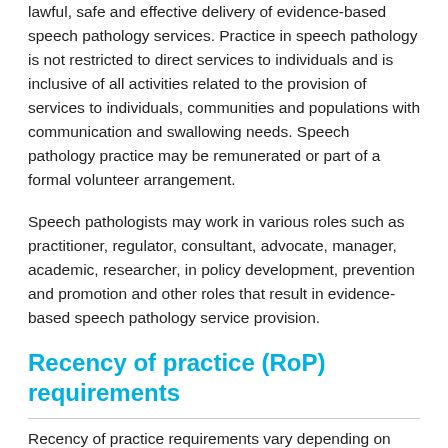lawful, safe and effective delivery of evidence-based speech pathology services. Practice in speech pathology is not restricted to direct services to individuals and is inclusive of all activities related to the provision of services to individuals, communities and populations with communication and swallowing needs. Speech pathology practice may be remunerated or part of a formal volunteer arrangement.
Speech pathologists may work in various roles such as practitioner, regulator, consultant, advocate, manager, academic, researcher, in policy development, prevention and promotion and other roles that result in evidence-based speech pathology service provision.
Recency of practice (RoP) requirements
Recency of practice requirements vary depending on